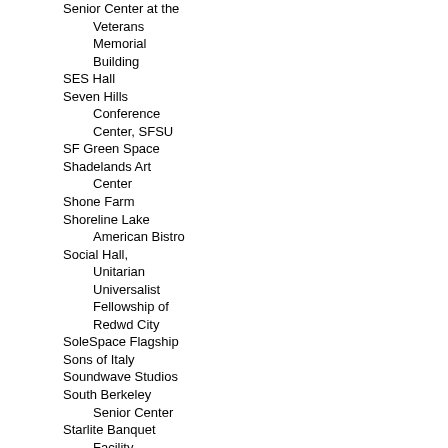Senior Center at the Veterans Memorial Building
SES Hall
Seven Hills Conference Center, SFSU
SF Green Space
Shadelands Art Center
Shone Farm
Shoreline Lake American Bistro
Social Hall, Unitarian Universalist Fellowship of Redwd City
SoleSpace Flagship
Sons of Italy
Soundwave Studios
South Berkeley Senior Center
Starlite Banquet Facility
Steele Lane Community Center
Stillheart Institute
Stonebrook Estate
Stratford
Studio 320
Sunnyvale Community Center Neighborhood Room
Sunset Magazine
Sunset Neighborhood